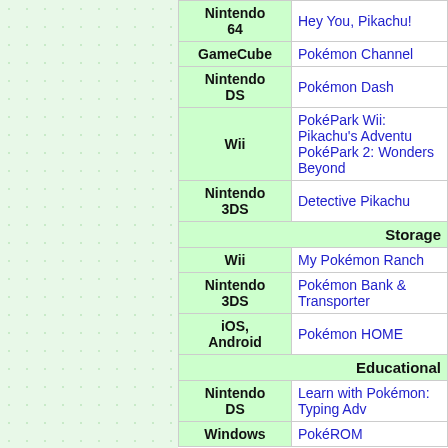| Platform | Game |
| --- | --- |
| Nintendo 64 | Hey You, Pikachu! |
| GameCube | Pokémon Channel |
| Nintendo DS | Pokémon Dash |
| Wii | PokéPark Wii: Pikachu's Adventure
PokéPark 2: Wonders Beyond |
| Nintendo 3DS | Detective Pikachu |
| Storage |  |
| Wii | My Pokémon Ranch |
| Nintendo 3DS | Pokémon Bank & Transporter |
| iOS, Android | Pokémon HOME |
| Educational |  |
| Nintendo DS | Learn with Pokémon: Typing Adventure |
| Windows | PokéROM |